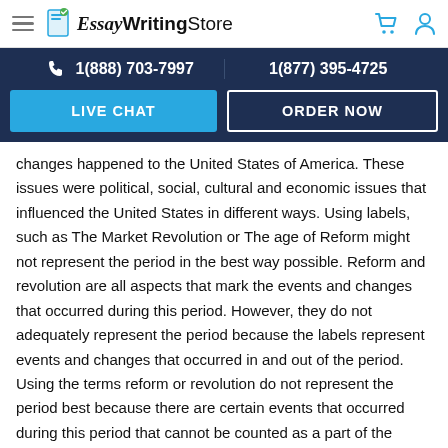EssayWritingStore — 1(888) 703-7997 | 1(877) 395-4725
changes happened to the United States of America. These issues were political, social, cultural and economic issues that influenced the United States in different ways. Using labels, such as The Market Revolution or The age of Reform might not represent the period in the best way possible. Reform and revolution are all aspects that mark the events and changes that occurred during this period. However, they do not adequately represent the period because the labels represent events and changes that occurred in and out of the period. Using the terms reform or revolution do not represent the period best because there are certain events that occurred during this period that cannot be counted as a part of the reform or a part